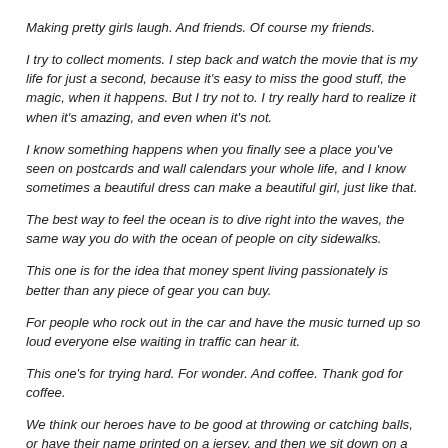Making pretty girls laugh. And friends. Of course my friends.
I try to collect moments. I step back and watch the movie that is my life for just a second, because it's easy to miss the good stuff, the magic, when it happens. But I try not to. I try really hard to realize it when it's amazing, and even when it's not.
I know something happens when you finally see a place you've seen on postcards and wall calendars your whole life, and I know sometimes a beautiful dress can make a beautiful girl, just like that.
The best way to feel the ocean is to dive right into the waves, the same way you do with the ocean of people on city sidewalks.
This one is for the idea that money spent living passionately is better than any piece of gear you can buy.
For people who rock out in the car and have the music turned up so loud everyone else waiting in traffic can hear it.
This one's for trying hard. For wonder. And coffee. Thank god for coffee.
We think our heroes have to be good at throwing or catching balls, or have their name printed on a jersey, and then we sit down on a